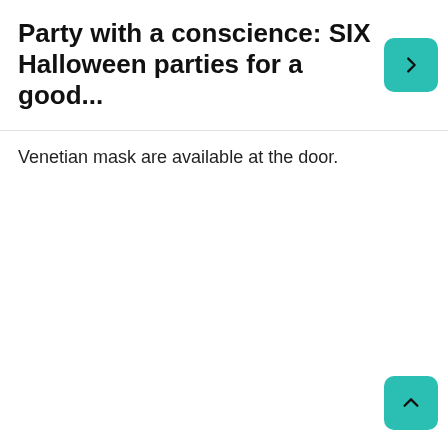Party with a conscience: SIX Halloween parties for a good...
Venetian mask are available at the door.